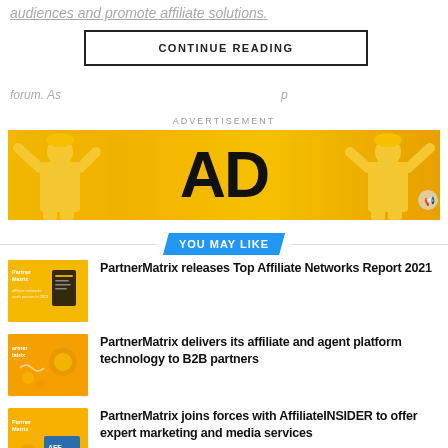audiences and promote affiliate solutions.
CONTINUE READING
forum. As ... [faded text] ... p
ADVERTISEMENT
[Figure (photo): Yellow advertisement banner with large 'AD' text and two men in yellow outfits]
YOU MAY LIKE
PartnerMatrix releases Top Affiliate Networks Report 2021
PartnerMatrix delivers its affiliate and agent platform technology to B2B partners
PartnerMatrix joins forces with AffiliateINSIDER to offer expert marketing and media services